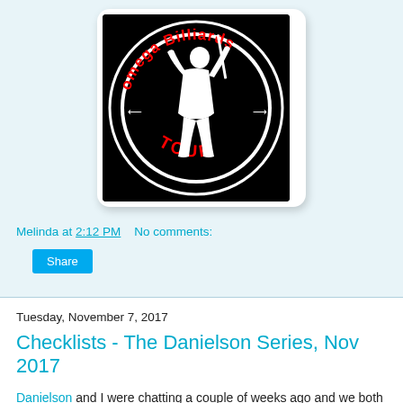[Figure (logo): Omega Billiards Tour logo: black square with white circle containing a white silhouette of a billiards player, red text 'omega Billiards' at top and 'TOUR' at bottom]
Melinda at 2:12 PM    No comments:
Share
Tuesday, November 7, 2017
Checklists - The Danielson Series, Nov 2017
Danielson and I were chatting a couple of weeks ago and we both mentioned that all of these learning lessons are really